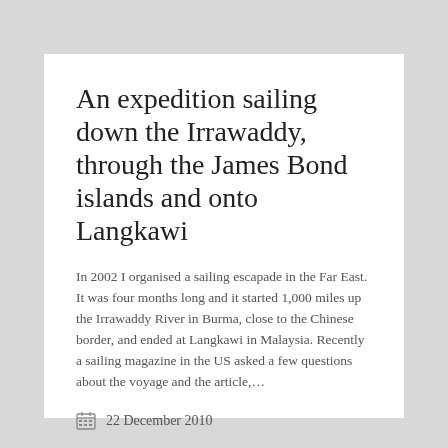An expedition sailing down the Irrawaddy, through the James Bond islands and onto Langkawi
In 2002 I organised a sailing escapade in the Far East. It was four months long and it started 1,000 miles up the Irrawaddy River in Burma, close to the Chinese border, and ended at Langkawi in Malaysia. Recently a sailing magazine in the US asked a few questions about the voyage and the article,…
22 December 2010
Experiences, Friends adventurous expeditions, Travel